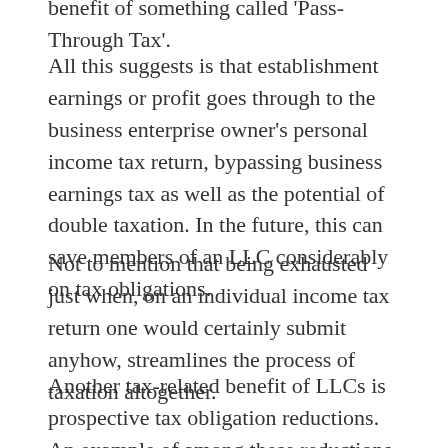benefit of something called 'Pass-Through Tax'.
All this suggests is that establishment earnings or profit goes through to the business enterprise owner's personal income tax return, bypassing business earnings tax as well as the potential of double taxation. In the future, this can save members of an LLC considerably on tax obligations.
Not to mention that being exhausted just when, on an individual income tax return one would certainly submit anyhow, streamlines the process of taxation altogether.
Another tax-related benefit of LLCs is prospective tax obligation reductions. An example of among these reductions is a more recent advantage